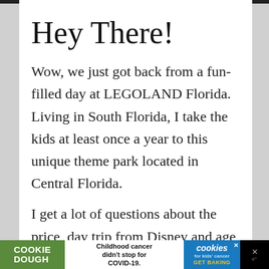Hey There!
Wow, we just got back from a fun-filled day at LEGOLAND Florida. Living in South Florida, I take the kids at least once a year to this unique theme park located in Central Florida.
I get a lot of questions about the price, day trip from Disney and age recommendations. So I am
[Figure (other): Advertisement banner: COOKIE DOUGH brand ad. Left green section reads 'COOKIE DOUGH'. Center white section reads 'Childhood cancer didn't stop for COVID-19.' Right blue section shows 'cookies for kids cancer' badge with 'GET BAKING'. Far right black section with X close button.]